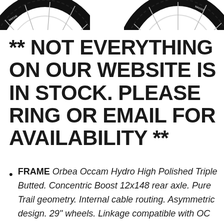[Figure (photo): Two partial bicycle tire/wheel images cropped at top of page, showing tread patterns and rims against white background]
** NOT EVERYTHING ON OUR WEBSITE IS IN STOCK. PLEASE RING OR EMAIL FOR AVAILABILITY **
FRAME Orbea Occam Hydro High Polished Triple Butted. Concentric Boost 12x148 rear axle. Pure Trail geometry. Internal cable routing. Asymmetric design. 29" wheels. Linkage compatible with OC multitool